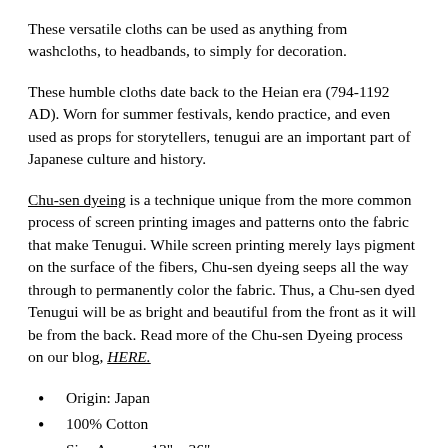These versatile cloths can be used as anything from washcloths, to headbands, to simply for decoration.
These humble cloths date back to the Heian era (794-1192 AD). Worn for summer festivals, kendo practice, and even used as props for storytellers, tenugui are an important part of Japanese culture and history.
Chu-sen dyeing is a technique unique from the more common process of screen printing images and patterns onto the fabric that make Tenugui. While screen printing merely lays pigment on the surface of the fibers, Chu-sen dyeing seeps all the way through to permanently color the fabric. Thus, a Chu-sen dyed Tenugui will be as bright and beautiful from the front as it will be from the back. Read more of the Chu-sen Dyeing process on our blog, HERE.
Origin: Japan
100% Cotton
Size Approx: 13" x 36"
Hand wash cold with like colors